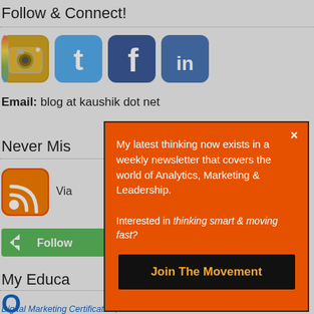Follow & Connect!
[Figure (illustration): Four social media icons: Instagram (camera), Twitter (bird), Facebook (f), LinkedIn (in)]
Email: blog at kaushik dot net
Never Mis...
[Figure (illustration): RSS feed icon (orange gradient rounded square with WiFi-style arcs)]
Via...
[Figure (illustration): Green Follow button with arrow/diamond shape on left]
My Educa...
[Figure (illustration): Blue O logo partial]
Digital Marketing Certification, Tests and Standards.
[Figure (infographic): Modal popup with orange background containing newsletter sign-up text and Join The Movement button]
My latest thinking now exists in a weekly newsletter that covers the world of Analytics, Marketing & Leadership.
Interested in thinking smart & moving fast?
Join The Movement